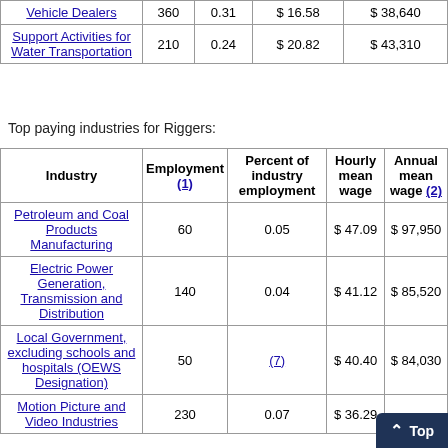| Industry | Employment (1) | Percent of industry employment | Hourly mean wage | Annual mean wage (2) |
| --- | --- | --- | --- | --- |
| Vehicle Dealers | 360 | 0.31 | $ 16.58 | $ 38,640 |
| Support Activities for Water Transportation | 210 | 0.24 | $ 20.82 | $ 43,310 |
Top paying industries for Riggers:
| Industry | Employment (1) | Percent of industry employment | Hourly mean wage | Annual mean wage (2) |
| --- | --- | --- | --- | --- |
| Petroleum and Coal Products Manufacturing | 60 | 0.05 | $ 47.09 | $ 97,950 |
| Electric Power Generation, Transmission and Distribution | 140 | 0.04 | $ 41.12 | $ 85,520 |
| Local Government, excluding schools and hospitals (OEWS Designation) | 50 | (7) | $ 40.40 | $ 84,030 |
| Motion Picture and Video Industries | 230 | 0.07 | $ 36.29 |  |